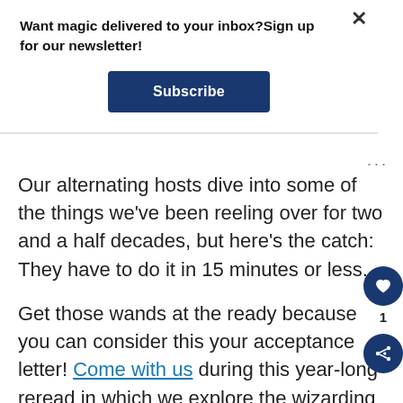Want magic delivered to your inbox?Sign up for our newsletter!
Subscribe
Our alternating hosts dive into some of the things we've been reeling over for two and a half decades, but here's the catch: They have to do it in 15 minutes or less.
Get those wands at the ready because you can consider this your acceptance letter! Come with us during this year-long reread in which we explore the wizarding world. Prepare to have your mind bewitched and your senses ensnared. This is a Harry Potter critical analysis